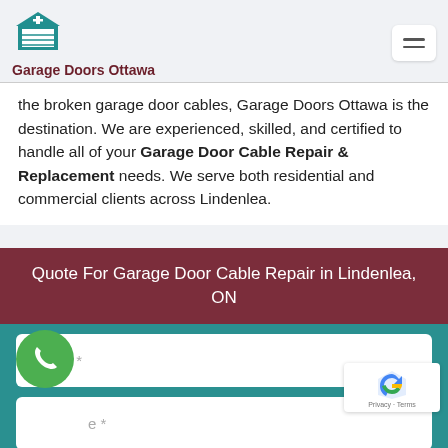[Figure (logo): Garage Doors Ottawa teal garage door icon logo]
Garage Doors Ottawa
the broken garage door cables, Garage Doors Ottawa is the destination. We are experienced, skilled, and certified to handle all of your Garage Door Cable Repair & Replacement needs. We serve both residential and commercial clients across Lindenlea.
Quote For Garage Door Cable Repair in Lindenlea, ON
Name *
e *